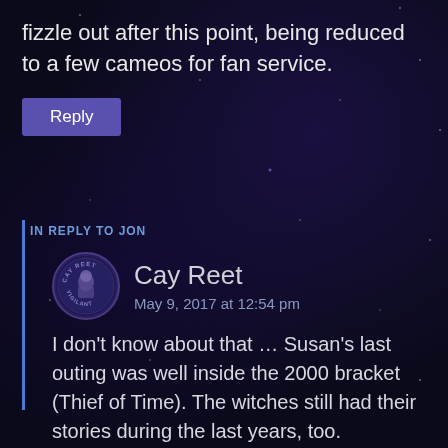fizzle out after this point, being reduced to a few cameos for fan service.
Reply
IN REPLY TO JON
Cay Reet
May 9, 2017 at 12:54 pm
I don't know about that … Susan's last outing was well inside the 2000 bracket (Thief of Time). The witches still had their stories during the last years, too. Rincewind got himself the job of assistant librarian and guardian of the